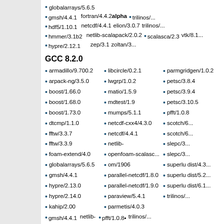globalarrays/5.6.5
gmsh/4.4.1
hdf5/1.10.1
hmmer/3.1b2
hypre/2.12.1
fortran/4.4.2alpha
netcdf/4.4.1
netlib-scalapack/2.0.2
elion/3.0.7
scalasca/2.3
zep/3.1
trilinos/...
vtk/8.1...
zoltan/3...
GCC 8.2.0
armadillo/9.700.2
arpack-ng/3.5.0
boost/1.66.0
boost/1.68.0
boost/1.73.0
dtcmp/1.1.0
fftw/3.3.7
fftw/3.3.9
foam-extend/4.0
globalarrays/5.6.5
gmsh/4.4.1
hypre/2.13.0
hypre/2.14.0
kahip/2.00
libcircle/0.2.1
lwgrp/1.0.2
matio/1.5.9
mdtest/1.9
mumps/5.1.1
netcdf-cxx4/4.3.0
netcdf/4.4.1
netlib-
openfoam-scalasca
om/1906
parallel-netcdf/1.8.0
parallel-netcdf/1.9.0
paraview/5.4.1
parmetis/4.0.3
parmgridgen/1.0.2
petsc/3.8.4
petsc/3.9.4
petsc/3.10.5
pfft/1.0.8
scotch/6...
slepc/3...
superlu...
dist/4.3...
superlumpi...
dist/5.2...
superlumpi...
dist/6.1...
trilinos/...